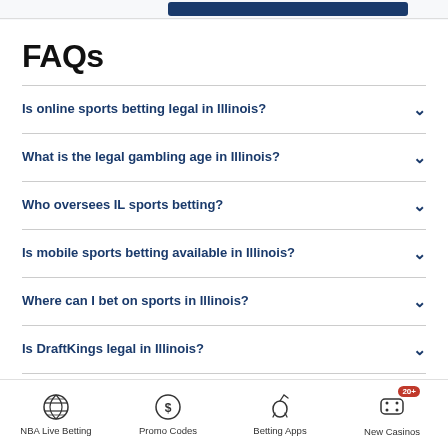FAQs
Is online sports betting legal in Illinois?
What is the legal gambling age in Illinois?
Who oversees IL sports betting?
Is mobile sports betting available in Illinois?
Where can I bet on sports in Illinois?
Is DraftKings legal in Illinois?
NBA Live Betting | Promo Codes | Betting Apps | New Casinos 20+